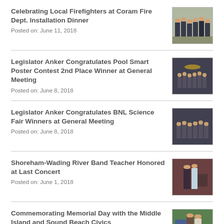Celebrating Local Firefighters at Coram Fire Dept. Installation Dinner
Posted on: June 11, 2018
[Figure (photo): Group photo at Coram Fire Dept. Installation Dinner]
Legislator Anker Congratulates Pool Smart Poster Contest 2nd Place Winner at General Meeting
Posted on: June 8, 2018
[Figure (photo): Group photo at General Meeting for Pool Smart Poster Contest]
Legislator Anker Congratulates BNL Science Fair Winners at General Meeting
Posted on: June 8, 2018
[Figure (photo): Group photo at General Meeting for BNL Science Fair]
Shoreham-Wading River Band Teacher Honored at Last Concert
Posted on: June 1, 2018
[Figure (photo): Photo of band teacher being honored at Last Concert]
Commemorating Memorial Day with the Middle Island and Sound Beach Civics
Posted on: May 30, 2018
[Figure (photo): Photo from Memorial Day commemoration event]